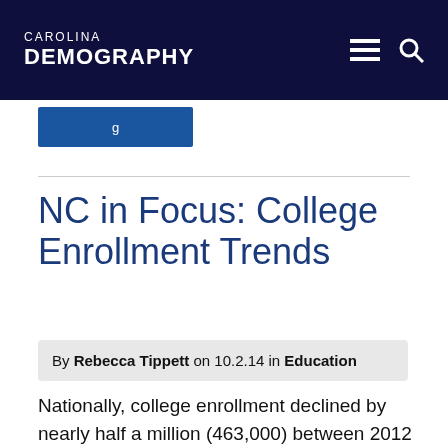CAROLINA DEMOGRAPHY
[Figure (screenshot): Partially visible blue navigation button with white text]
NC in Focus: College Enrollment Trends
By Rebecca Tippett on 10.2.14 in Education
Nationally, college enrollment declined by nearly half a million (463,000) between 2012 and 2013, according to new data from the U.S. Census Bureau's Current Population Survey. This was the second year in a row that saw a drop of this size.